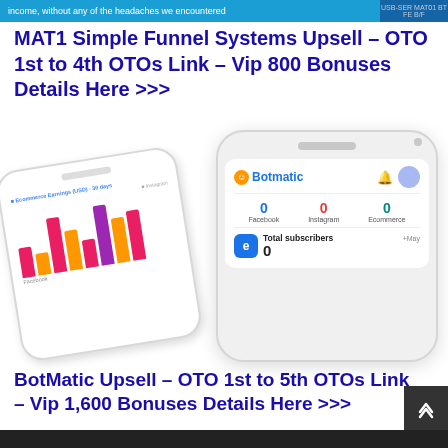income, without any of the headaches we encountered
MAT1 Simple Funnel Systems Upsell – OTO 1st to 4th OTOs Link – Vip 800 Bonuses Details Here >>>
[Figure (screenshot): Two smartphone mockups showing BotMatic app interface. Left phone shows a bar chart of Ecommerce Earnings (USD) over 30 days. Right phone shows BotMatic dashboard with 0 Facebook, 0 Instagram, 0 Ecommerce subscribers and Total subscribers: 0.]
BotMatic Upsell – OTO 1st to 5th OTOs Link – Vip 1,600 Bonuses Details Here >>>